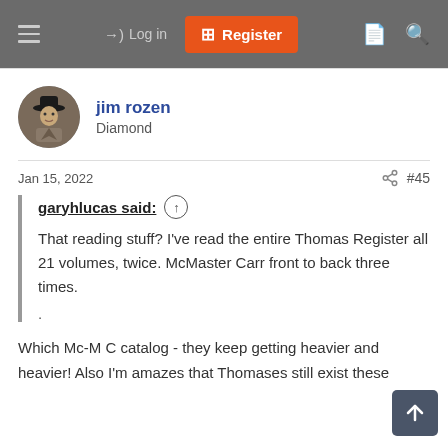[Figure (screenshot): Forum navigation bar with hamburger menu, Log in link, Register button (orange), document icon, and search icon on dark grey background]
jim rozen
Diamond
Jan 15, 2022
#45
garyhlucas said: ↑
That reading stuff? I've read the entire Thomas Register all 21 volumes, twice. McMaster Carr front to back three times.
.
Which Mc-M C catalog - they keep getting heavier and heavier! Also I'm amazes that Thomases still exist these